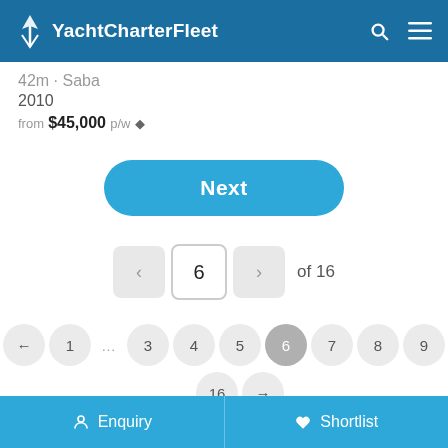YachtCharterFleet
42m · Saba
2010
from $45,000 p/w ◆
Next
< 6 > of 16
← 1 … 3 4 5 6 7 8 9
… 16 →
Enquiry  Shortlist